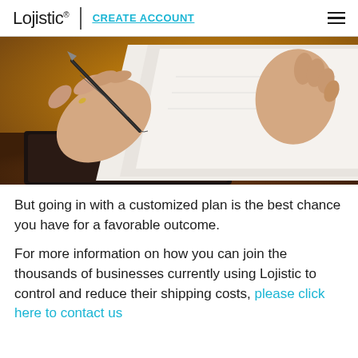Lojistic | CREATE ACCOUNT
[Figure (photo): Close-up photo of a person's hand holding a pen and signing or writing on a document/paper, with warm golden-brown background.]
But going in with a customized plan is the best chance you have for a favorable outcome.
For more information on how you can join the thousands of businesses currently using Lojistic to control and reduce their shipping costs, please click here to contact us